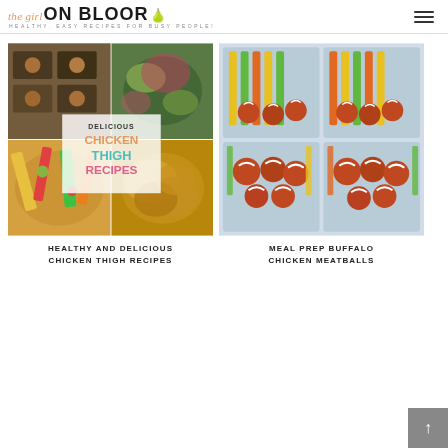[Figure (logo): The Girl On Bloor logo with script 'the girl' in orange italic, bold 'ON BLOOR' in dark, pear emoji, tagline 'HEALTHY. EASY RECIPES FOR BUSY PEOPLE!']
[Figure (photo): Collage of chicken thigh recipe photos with text overlay: DELICIOUS CHICKEN THIGH RECIPES]
HEALTHY AND DELICIOUS CHICKEN THIGH RECIPES
[Figure (photo): Meal prep containers with buffalo chicken meatballs and vegetable sticks]
MEAL PREP BUFFALO CHICKEN MEATBALLS